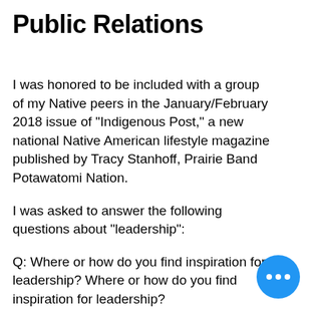Public Relations
I was honored to be included with a group of my Native peers in the January/February 2018 issue of "Indigenous Post," a new national Native American lifestyle magazine published by Tracy Stanhoff, Prairie Band Potawatomi Nation.
I was asked to answer the following questions about "leadership":
Q: Where or how do you find inspiration for leadership? Where or how do you find inspiration for leadership?
A: I established my public relations firm